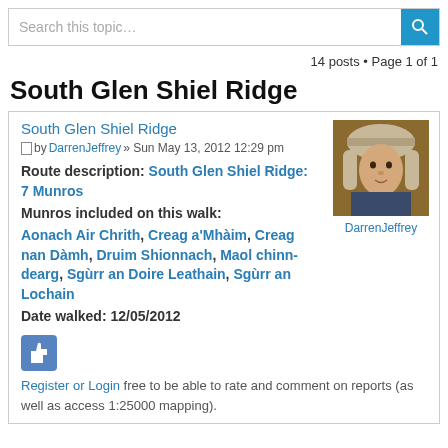Search this topic…
14 posts • Page 1 of 1
South Glen Shiel Ridge
South Glen Shiel Ridge
by DarrenJeffrey » Sun May 13, 2012 12:29 pm
[Figure (photo): Avatar photo of DarrenJeffrey — person wearing a fur hat]
DarrenJeffrey
Route description: South Glen Shiel Ridge: 7 Munros
Munros included on this walk:
Aonach Air Chrith, Creag a'Mhàim, Creag nan Dàmh, Druim Shionnach, Maol chinn-dearg, Sgùrr an Doire Leathain, Sgùrr an Lochain
Date walked: 12/05/2012
[Figure (illustration): Thumbs up / like icon in blue]
Register or Login free to be able to rate and comment on reports (as well as access 1:25000 mapping).